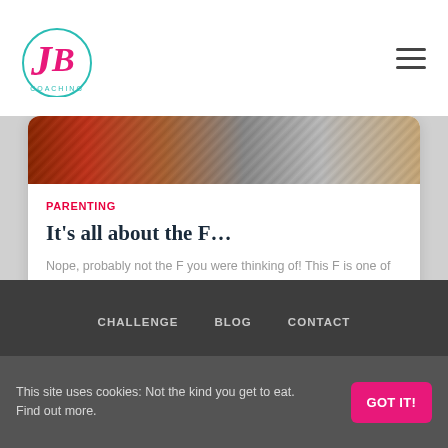JB Coaching — logo and navigation
[Figure (photo): Partial photo visible at top of blog card showing colorful items, orange and metallic tones]
PARENTING
It's all about the F…
Nope, probably not the F you were thinking of! This F is one of the three I talk about in my Tools for Talking course. The next course is starting soon, so keep your eyes & Read more…
CHALLENGE   BLOG   CONTACT
This site uses cookies: Not the kind you get to eat. Find out more.
GOT IT!